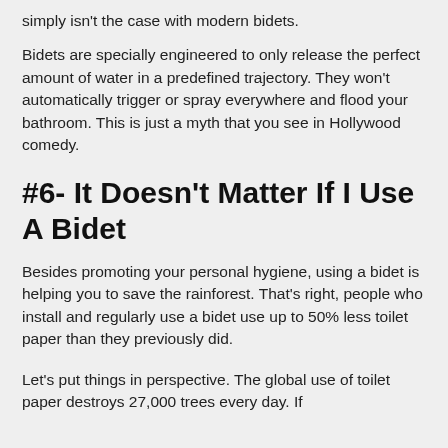simply isn't the case with modern bidets.
Bidets are specially engineered to only release the perfect amount of water in a predefined trajectory. They won't automatically trigger or spray everywhere and flood your bathroom. This is just a myth that you see in Hollywood comedy.
#6- It Doesn't Matter If I Use A Bidet
Besides promoting your personal hygiene, using a bidet is helping you to save the rainforest. That's right, people who install and regularly use a bidet use up to 50% less toilet paper than they previously did.
Let's put things in perspective. The global use of toilet paper destroys 27,000 trees every day. If